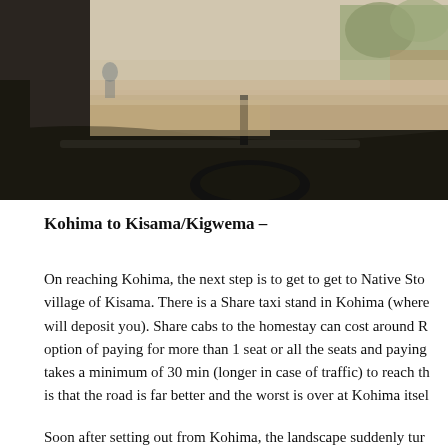[Figure (photo): View from inside a vehicle showing the dashboard and windshield, with a dusty road, roadside trees, fencing, and a hazy outdoor scene visible through the windshield.]
Kohima to Kisama/Kigwema –
On reaching Kohima, the next step is to get to Native Sto- village of Kisama. There is a Share taxi stand in Kohima (where will deposit you). Share cabs to the homestay can cost around R option of paying for more than 1 seat or all the seats and paying takes a minimum of 30 min (longer in case of traffic) to reach th is that the road is far better and the worst is over at Kohima itse
Soon after setting out from Kohima, the landscape suddenly tur